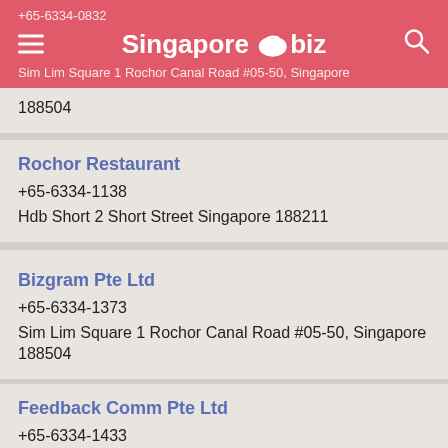Singapore biz — +65-6334-0832 | Sim Lim Square 1 Rochor Canal Road #05-50, Singapore
188504
Rochor Restaurant
+65-6334-1138
Hdb Short 2 Short Street Singapore 188211
Bizgram Pte Ltd
+65-6334-1373
Sim Lim Square 1 Rochor Canal Road #05-50, Singapore 188504
Feedback Comm Pte Ltd
+65-6334-1433